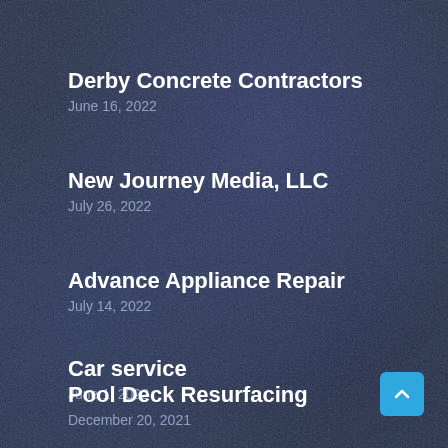Derby Concrete Contractors
June 16, 2022
New Journey Media, LLC
July 26, 2022
Advance Appliance Repair
July 14, 2022
Car service
June 1, 2022
Pool Deck Resurfacing
December 20, 2021